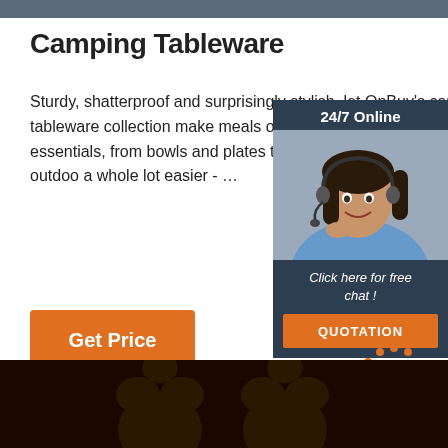Camping Tableware
Sturdy, shatterproof and surprisingly stylish, let OnBuy's camping tableware collection make meals on the move hassle-free. Ticking the essentials, from bowls and plates to and cutlery, dining in the great outdoors a whole lot easier - ...
[Figure (other): Customer service agent photo with 24/7 Online badge, chat widget with quote button]
[Figure (other): TOP logo with orange dots arc above text]
[Figure (other): Dark brown background image at bottom with bear paw silhouettes]